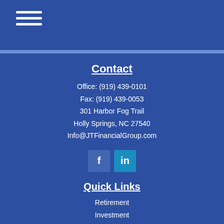Contact
Office: (919) 439-0101
Fax: (919) 439-0053
301 Harbor Fog Trail
Holly Springs, NC 27540
Info@JTFinancialGroup.com
[Figure (other): Social media icons: Facebook (f) and LinkedIn (in)]
Quick Links
Retirement
Investment
Estate
Insurance
Tax
Money